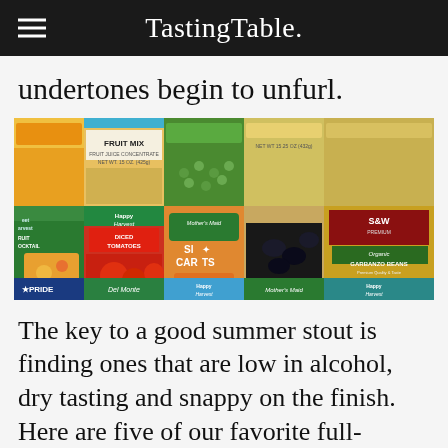TastingTable.
undertones begin to unfurl.
[Figure (photo): A photo of multiple rows of canned goods including Fruit Mix, Happy Harvest Diced Tomatoes, Mother's Maid Carrots, black beans, S&W Organic Garbanzo Beans, and mixed vegetables.]
The key to a good summer stout is finding ones that are low in alcohol, dry tasting and snappy on the finish. Here are five of our favorite full-